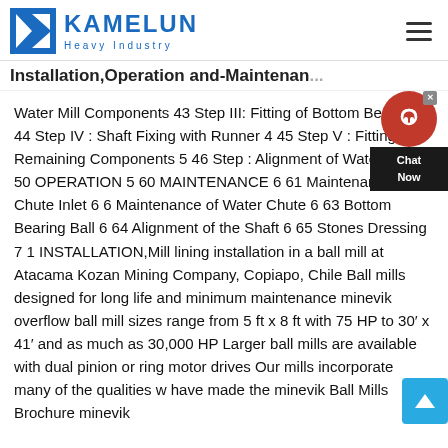[Figure (logo): Kamelun Heavy Industry logo with blue K icon and company name]
Installation,Operation and-Maintenan...
Water Mill Components 43 Step III: Fitting of Bottom Bearing 4 44 Step IV : Shaft Fixing with Runner 4 45 Step V : Fitting the Remaining Components 5 46 Step : Alignment of Water Jet 5 50 OPERATION 5 60 MAINTENANCE 6 61 Maintenance of Chute Inlet 6 6 Maintenance of Water Chute 6 63 Bottom Bearing Ball 6 64 Alignment of the Shaft 6 65 Stones Dressing 7 1 INSTALLATION,Mill lining installation in a ball mill at Atacama Kozan Mining Company, Copiapo, Chile Ball mills designed for long life and minimum maintenance minevik overflow ball mill sizes range from 5 ft x 8 ft with 75 HP to 30′ x 41′ and as much as 30,000 HP Larger ball mills are available with dual pinion or ring motor drives Our mills incorporate many of the qualities w have made the minevik Ball Mills Brochure minevik